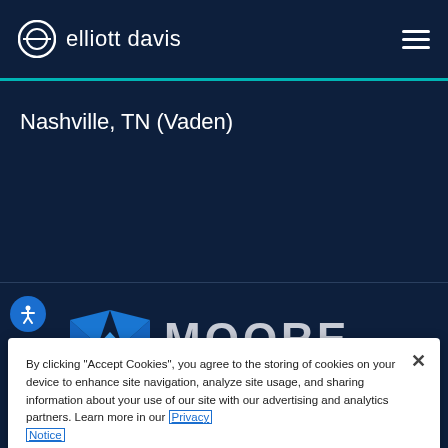elliott davis
Nashville, TN (Vaden)
[Figure (logo): Moore Global Network logo with blue M shape and MOORE text]
By clicking "Accept Cookies", you agree to the storing of cookies on your device to enhance site navigation, analyze site usage, and sharing information about your use of our site with our advertising and analytics partners. Learn more in our Privacy Notice
Customize Settings
Accept Cookies